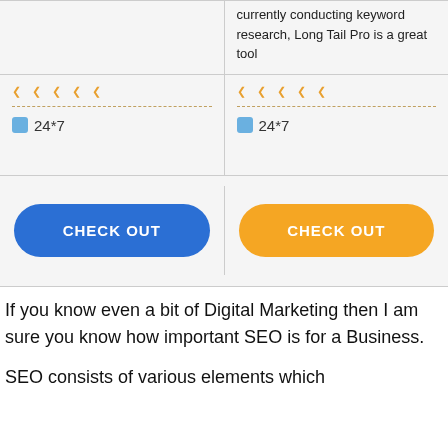|  | currently conducting keyword research, Long Tail Pro is a great tool |
| ★★★★★ / 24*7 | ★★★★★ / 24*7 |
| CHECK OUT | CHECK OUT |
If you know even a bit of Digital Marketing then I am sure you know how important SEO is for a Business.
SEO consists of various elements which